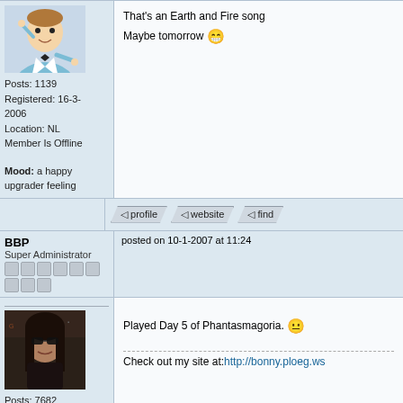That's an Earth and Fire song
Maybe tomorrow 😁
Posts: 1139
Registered: 16-3-2006
Location: NL
Member Is Offline
Mood: a happy upgrader feeling
profile  website  find
BBP
Super Administrator
posted on 10-1-2007 at 11:24
Played Day 5 of Phantasmagoria. 😐
Check out my site at:http://bonny.ploeg.ws
Posts: 7682
Registered: 3-10-2005
Location: Eindhoven, Netherlands
Member Is Offline
Mood: Cheerful yet relaxed
profile  website  find